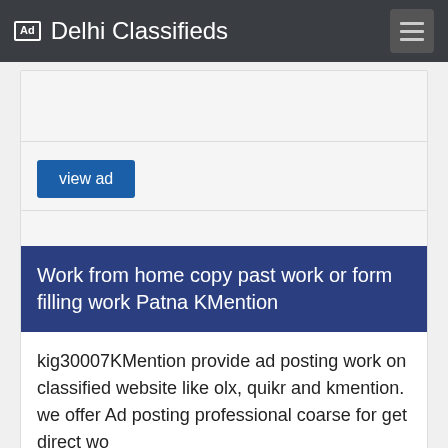Ad Delhi Classifieds
[Figure (screenshot): View ad button card with empty top area and view ad blue button]
Work from home copy past work or form filling work Patna KMention
kig30007KMention provide ad posting work on classified website like olx, quikr and kmention. we offer Ad posting professional coarse for get direct wo